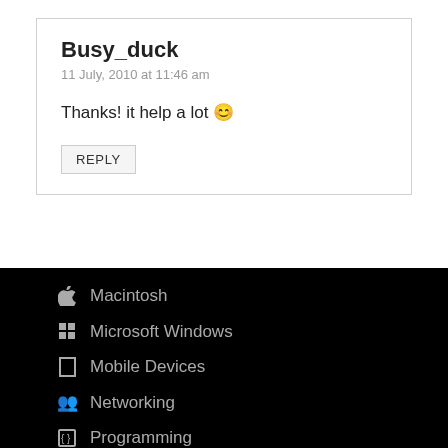Busy_duck
11 July, 2010 at 11:46 am
Thanks! it help a lot 🙂
REPLY
Macintosh
Microsoft Windows
Mobile Devices
Networking
Programming
Science